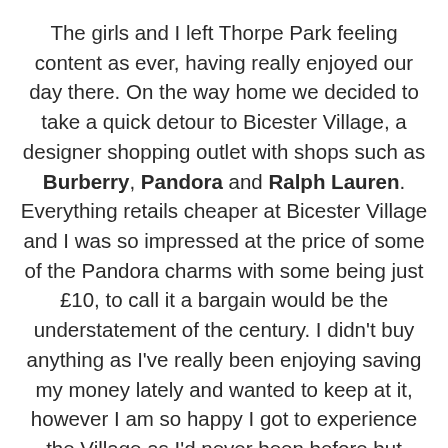The girls and I left Thorpe Park feeling content as ever, having really enjoyed our day there. On the way home we decided to take a quick detour to Bicester Village, a designer shopping outlet with shops such as Burberry, Pandora and Ralph Lauren. Everything retails cheaper at Bicester Village and I was so impressed at the price of some of the Pandora charms with some being just £10, to call it a bargain would be the understatement of the century. I didn't buy anything as I've really been enjoying saving my money lately and wanted to keep at it, however I am so happy I got to experience the Village as I'd never been before but virtually everyone I know has! Now I can finally stop feeling left out! I'm definitely planning on going back to Bicester Village at some point to treat myself, a day there